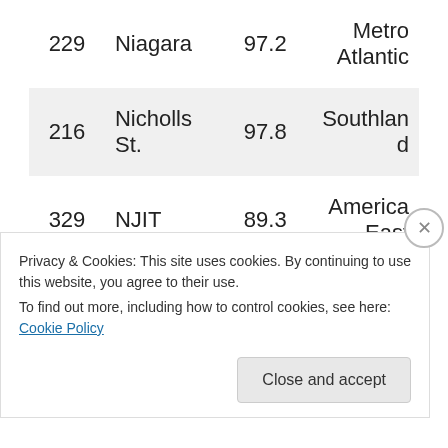| 229 | Niagara | 97.2 | Metro Atlantic |
| 216 | Nicholls St. | 97.8 | Southland |
| 329 | NJIT | 89.3 | America East |
| 204 | Norfolk St. | 98.2 | Mideastern |
Privacy & Cookies: This site uses cookies. By continuing to use this website, you agree to their use. To find out more, including how to control cookies, see here: Cookie Policy